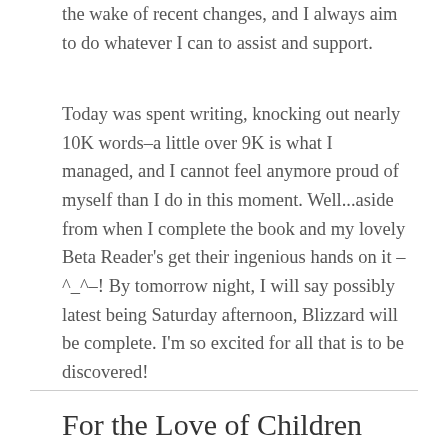the wake of recent changes, and I always aim to do whatever I can to assist and support.
Today was spent writing, knocking out nearly 10K words–a little over 9K is what I managed, and I cannot feel anymore proud of myself than I do in this moment. Well...aside from when I complete the book and my lovely Beta Reader's get their ingenious hands on it –^_^–! By tomorrow night, I will say possibly latest being Saturday afternoon, Blizzard will be complete. I'm so excited for all that is to be discovered!
For the Love of Children